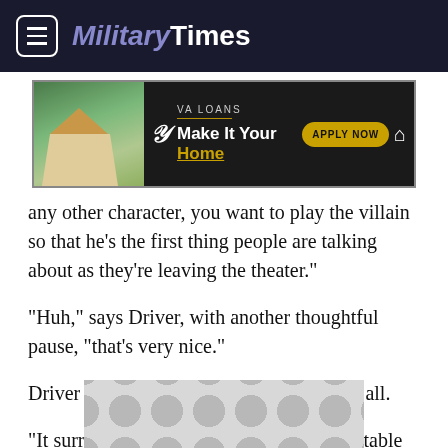Military Times
[Figure (other): VA Loans advertisement banner: Make It Your Home — Apply Now button]
any other character, you want to play the villain so that he's the first thing people are talking about as they're leaving the theater."
"Huh," says Driver, with another thoughtful pause, "that's very nice."
Driver says he's just glad to be a part of it all.
"It surreal," he says. "Being there for that table read and the idea of working with these people who I've grown up watching, and
[Figure (other): Advertisement placeholder with circular pattern at bottom of page]